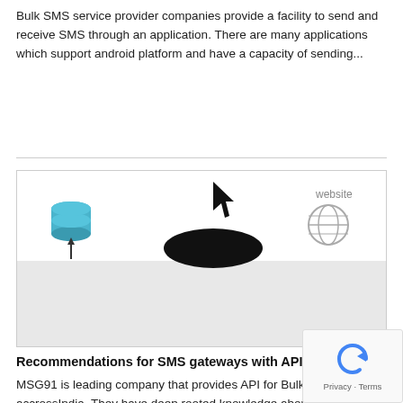Bulk SMS service provider companies provide a facility to send and receive SMS through an application. There are many applications which support android platform and have a capacity of sending...
[Figure (schematic): A diagram showing a database icon on the left with an upward arrow, a cursor/arrow icon pointing down in the center with a dark hill/mound shape, and a website icon (globe) on the right. Lower portion has a grey background suggesting a cut-off diagram.]
Recommendations for SMS gateways with API-support
MSG91 is leading company that provides API for Bulk SMS services accrossIndia. They have deep rooted knowledge about SMS Ga... API implementation with any website. MSG91 has developed ma... websites...